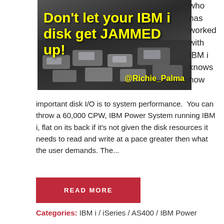[Figure (photo): Dark grayscale photo of traffic with yellow bold text overlay reading 'Don't let your IBM i disk get JAMMED up!' and '@Richie_Palma' handle in yellow at bottom right]
who has worked with IBM i knows how
important disk I/O is to system performance.  You can throw a 60,000 CPW, IBM Power System running IBM i, flat on its back if it's not given the disk resources it needs to read and write at a pace greater then what the user demands. The...
READ MORE
Categories: IBM i / iSeries / AS400 / IBM Power Systems / Storage